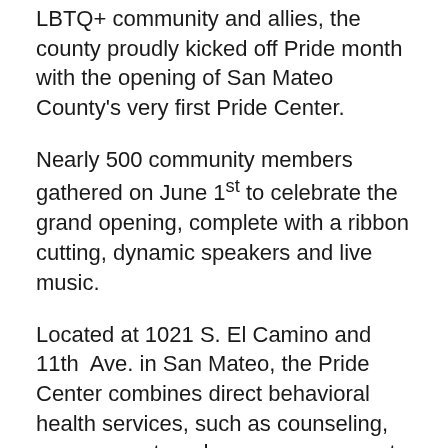LBTQ+ community and allies, the county proudly kicked off Pride month with the opening of San Mateo County's very first Pride Center.
Nearly 500 community members gathered on June 1st to celebrate the grand opening, complete with a ribbon cutting, dynamic speakers and live music.
Located at 1021 S. El Camino and 11th Ave. in San Mateo, the Pride Center combines direct behavioral health services, such as counseling, peer support, and case management, with community support and services. The center is a safe space and welcomes everyone.
The Pride Center is a collaboration with Behavioral Health and Recovery Services, funded through the Mental Health Services Act. The Center is operated by